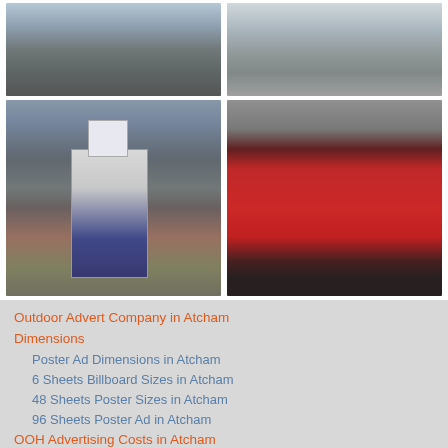[Figure (photo): Street scene with pedestrians, outdoor advertising location]
[Figure (photo): Train station or transit stop with billboard/poster display]
[Figure (photo): Bus stop with 'Try the Train' poster advertisement in street furniture]
[Figure (photo): Large red billboard with athletic figures, Clear Channel outdoor advertising]
Outdoor Advert Company in Atcham
Dimensions
Poster Ad Dimensions in Atcham
6 Sheets Billboard Sizes in Atcham
48 Sheets Poster Sizes in Atcham
96 Sheets Poster Ad in Atcham
OOH Advertising Costs in Atcham
Providers
Clear Channel Poster Ads in Atcham